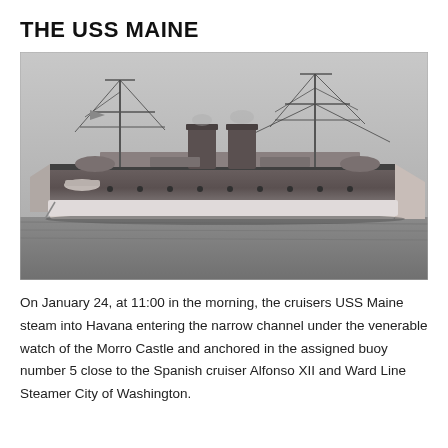THE USS MAINE
[Figure (photo): Black and white historical photograph of the USS Maine battleship cruiser at sea, showing masts, funnels, and hull.]
On January 24, at 11:00 in the morning, the cruisers USS Maine steam into Havana entering the narrow channel under the venerable watch of the Morro Castle and anchored in the assigned buoy number 5 close to the Spanish cruiser Alfonso XII and Ward Line Steamer City of Washington.